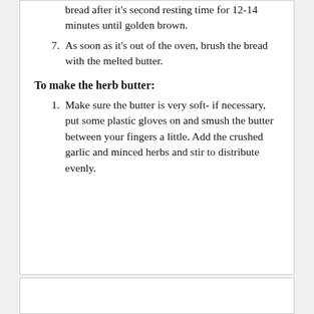7. bread after it's second resting time for 12-14 minutes until golden brown.
7. As soon as it's out of the oven, brush the bread with the melted butter.
To make the herb butter:
1. Make sure the butter is very soft- if necessary, put some plastic gloves on and smush the butter between your fingers a little. Add the crushed garlic and minced herbs and stir to distribute evenly.